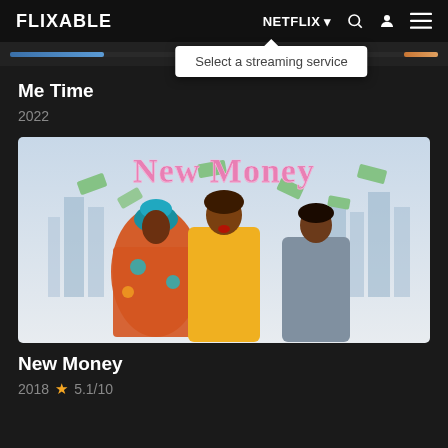FLIXABLE  NETFLIX  [search icon] [user icon] [menu icon]
Select a streaming service
Me Time
2022
[Figure (photo): Movie poster for 'New Money' showing three women with money flying around them, title in pink glittery text, city skyline background]
New Money
2018  ★ 5.1/10